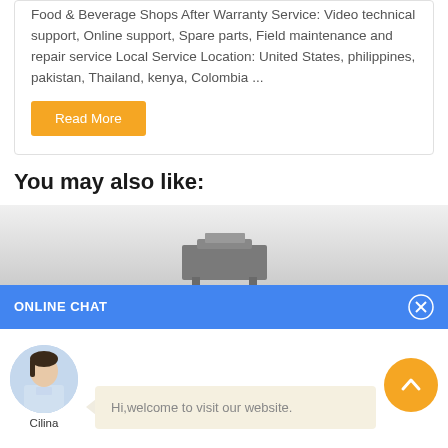Food & Beverage Shops After Warranty Service: Video technical support, Online support, Spare parts, Field maintenance and repair service Local Service Location: United States, philippines, pakistan, Thailand, kenya, Colombia ...
Read More
You may also like:
[Figure (photo): Product image placeholder area with gradient grey background and a product device silhouette]
ONLINE CHAT
[Figure (photo): Avatar photo of a female customer service representative named Cilina]
Hi,welcome to visit our website.
Cilina